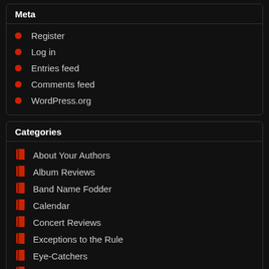Meta
Register
Log in
Entries feed
Comments feed
WordPress.org
Categories
About Your Authors
Album Reviews
Band Name Fodder
Calendar
Concert Reviews
Exceptions to the Rule
Eye-Catchers
Forthcoming Albums
Free Shit
Interviews
IQ Subtraction
Listmania